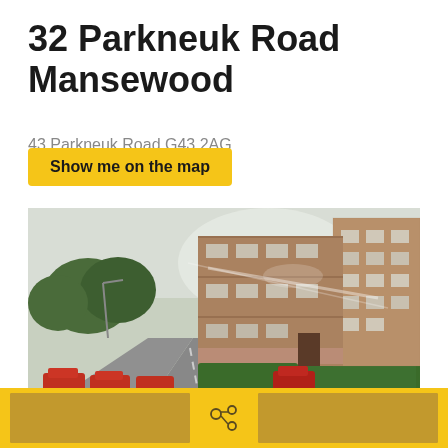32 Parkneuk Road Mansewood
43 Parkneuk Road G43 2AG
Show me on the map
[Figure (photo): Street-level photograph of a multi-storey brick apartment block on Parkneuk Road, Mansewood. Cars are parked along the left side of the road, with green hedges lining the pavement in front of the building.]